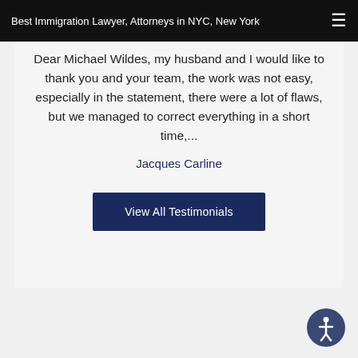Best Immigration Lawyer, Attorneys in NYC, New York
Dear Michael Wildes, my husband and I would like to thank you and your team, the work was not easy, especially in the statement, there were a lot of flaws, but we managed to correct everything in a short time,...
Jacques Carline
View All Testimonials